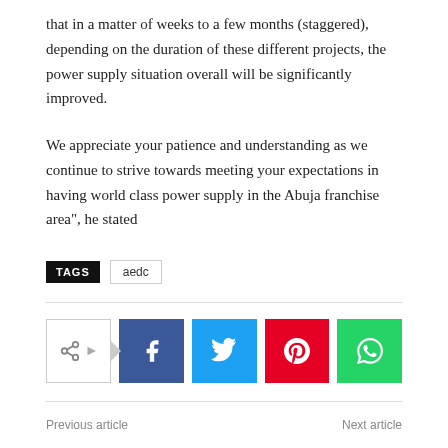that in a matter of weeks to a few months (staggered), depending on the duration of these different projects, the power supply situation overall will be significantly improved.
We appreciate your patience and understanding as we continue to strive towards meeting your expectations in having world class power supply in the Abuja franchise area", he stated
TAGS  aedc
[Figure (infographic): Social share buttons row: a share icon button with arrow, followed by Facebook (blue), Twitter (cyan), Pinterest (red), and WhatsApp (green) icon buttons.]
Previous article    Next article